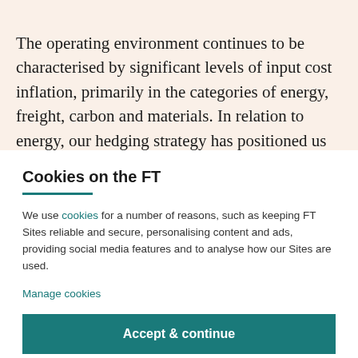The operating environment continues to be characterised by significant levels of input cost inflation, primarily in the categories of energy, freight, carbon and materials. In relation to energy, our hedging strategy has positioned us [partially cut off]
Cookies on the FT
We use cookies for a number of reasons, such as keeping FT Sites reliable and secure, personalising content and ads, providing social media features and to analyse how our Sites are used.
Manage cookies
Accept & continue